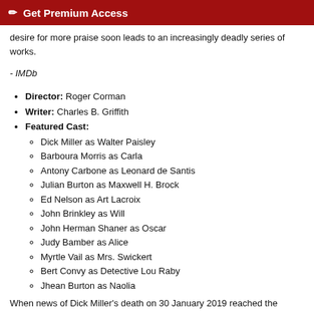🖊 Get Premium Access
desire for more praise soon leads to an increasingly deadly series of works.
- IMDb
Director: Roger Corman
Writer: Charles B. Griffith
Featured Cast:
Dick Miller as Walter Paisley
Barboura Morris as Carla
Antony Carbone as Leonard de Santis
Julian Burton as Maxwell H. Brock
Ed Nelson as Art Lacroix
John Brinkley as Will
John Herman Shaner as Oscar
Judy Bamber as Alice
Myrtle Vail as Mrs. Swickert
Bert Convy as Detective Lou Raby
Jhean Burton as Naolia
When news of Dick Miller's death on 30 January 2019 reached the Decades of Horror: The Classic Era Crew, Sammy and the gang of Arbitrary Film school students...